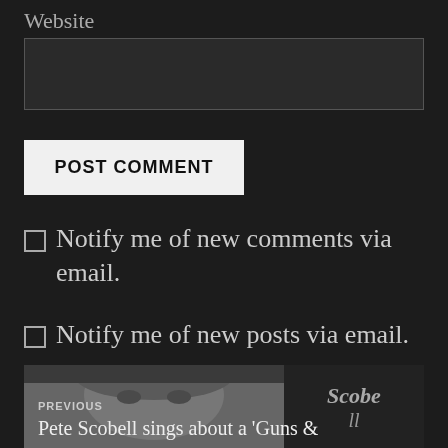Website
POST COMMENT
Notify me of new comments via email.
Notify me of new posts via email.
[Figure (photo): Navigation block showing previous post: grayscale photo of man's face on left, ornate logo text on right, with label PREVIOUS and title Pete Scobell sings about a 'Guns &']
PREVIOUS
Pete Scobell sings about a 'Guns &'